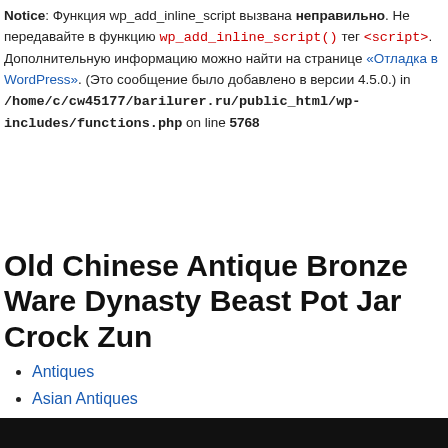Notice: Функция wp_add_inline_script вызвана неправильно. Не передавайте в функцию wp_add_inline_script() тег <script>. Дополнительную информацию можно найти на странице «Отладка в WordPress». (Это сообщение было добавлено в версии 4.5.0.) in /home/c/cw45177/barilurer.ru/public_html/wp-includes/functions.php on line 5768
Old Chinese Antique Bronze Ware Dynasty Beast Pot Jar Crock Zun
Antiques
Asian Antiques
China
[Figure (photo): Dark background with partial view of a bronze Chinese antique vessel/zun]